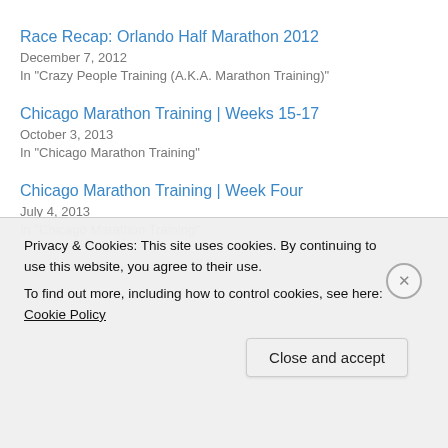Race Recap: Orlando Half Marathon 2012
December 7, 2012
In "Crazy People Training (A.K.A. Marathon Training)"
Chicago Marathon Training | Weeks 15-17
October 3, 2013
In "Chicago Marathon Training"
Chicago Marathon Training | Week Four
July 4, 2013
In "Chicago Marathon Training"
Privacy & Cookies: This site uses cookies. By continuing to use this website, you agree to their use.
To find out more, including how to control cookies, see here: Cookie Policy
Close and accept